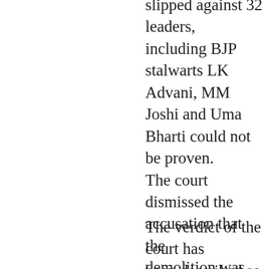slipped against 32 leaders, including BJP stalwarts LK Advani, MM Joshi and Uma Bharti could not be proven. The court dismissed the accusation that the demolition was the result of a pre-planned conspiracy and instead reprimanded the CBI for not being able to produce substantial evidence against any of the accused on the charges that they had stood trial for.
The verdict of the court has been described as an “utter farce” by Justice (retired)